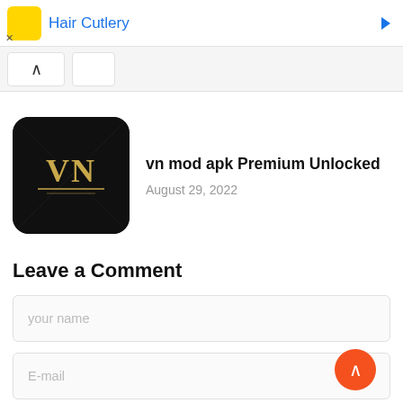[Figure (screenshot): Advertisement bar showing Hair Cutlery app with yellow icon and blue text, and a blue arrow on the right. An X close button is shown below left.]
[Figure (screenshot): Navigation bar with an up-arrow button and a tab button.]
[Figure (screenshot): App icon for VN mod apk - black square with golden VN logo text]
vn mod apk Premium Unlocked
August 29, 2022
Leave a Comment
your name
E-mail